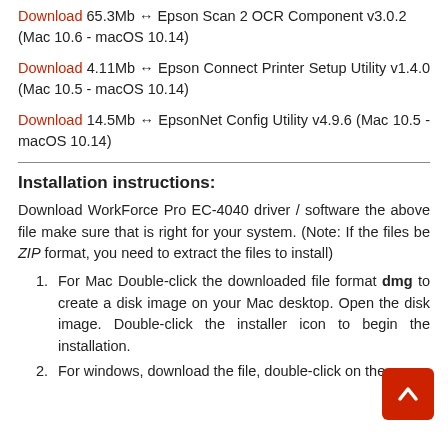Download 65.3Mb → Epson Scan 2 OCR Component v3.0.2 (Mac 10.6 - macOS 10.14)
Download 4.11Mb → Epson Connect Printer Setup Utility v1.4.0 (Mac 10.5 - macOS 10.14)
Download 14.5Mb → EpsonNet Config Utility v4.9.6 (Mac 10.5 - macOS 10.14)
Installation instructions:
Download WorkForce Pro EC-4040 driver / software the above file make sure that is right for your system. (Note: If the files be ZIP format, you need to extract the files to install)
For Mac Double-click the downloaded file format dmg to create a disk image on your Mac desktop. Open the disk image. Double-click the installer icon to begin the installation.
For windows, download the file, double-click on the